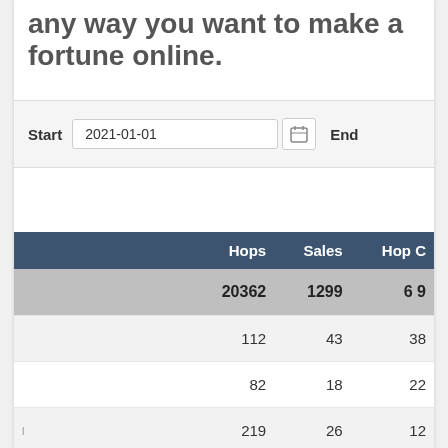any way you want to make a fortune online.
[Figure (screenshot): Date filter bar with Start label, date input showing 2021-01-01, calendar icon, and End label]
|  | Hops | Sales | Hop C |
| --- | --- | --- | --- |
|  | 20362 | 1299 | 6 9 |
|  | 112 | 43 | 38 |
|  | 82 | 18 | 22 |
|  | 219 | 26 | 12 |
|  | 396 | 27 | 7 9 |